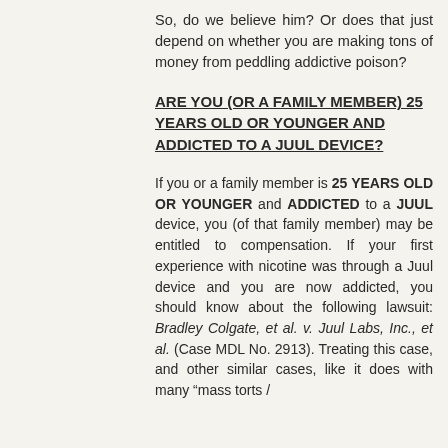So, do we believe him? Or does that just depend on whether you are making tons of money from peddling addictive poison?
ARE YOU (OR A FAMILY MEMBER) 25 YEARS OLD OR YOUNGER AND ADDICTED TO A JUUL DEVICE?
If you or a family member is 25 YEARS OLD OR YOUNGER and ADDICTED to a JUUL device, you (of that family member) may be entitled to compensation. If your first experience with nicotine was through a Juul device and you are now addicted, you should know about the following lawsuit: Bradley Colgate, et al. v. Juul Labs, Inc., et al. (Case MDL No. 2913). Treating this case, and other similar cases, like it does with many "mass torts /